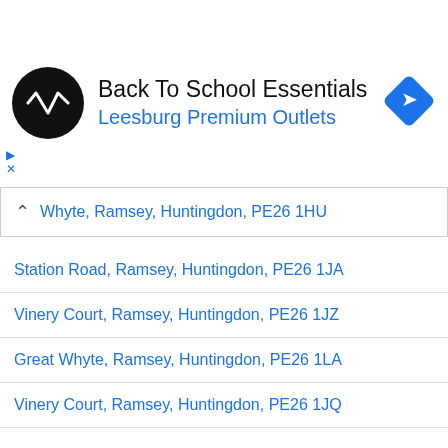[Figure (logo): Back To School Essentials ad banner with circular logo, text 'Back To School Essentials / Leesburg Premium Outlets', and blue diamond navigation icon]
Whyte, Ramsey, Huntingdon, PE26 1HU
Station Road, Ramsey, Huntingdon, PE26 1JA
Vinery Court, Ramsey, Huntingdon, PE26 1JZ
Great Whyte, Ramsey, Huntingdon, PE26 1LA
Vinery Court, Ramsey, Huntingdon, PE26 1JQ
Alternatively, click here to view demographic information about PE26 as a whole.
About the Demographic Information
The information on housing, people, culture, employment and education that is displayed about Orchard Way, Ramsey, Huntingdon, PE26 1JF is based on the last census performed in the UK in 2011. They are performed once every 10 years. Please note: census information may include figures for adjacent